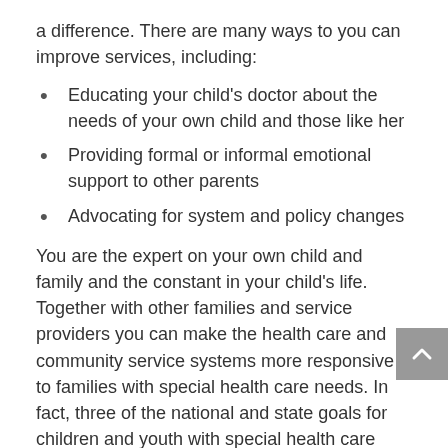a difference. There are many ways to you can improve services, including:
Educating your child's doctor about the needs of your own child and those like her
Providing formal or informal emotional support to other parents
Advocating for system and policy changes
You are the expert on your own child and family and the constant in your child's life. Together with other families and service providers you can make the health care and community service systems more responsive to families with special health care needs. In fact, three of the national and state goals for children and youth with special health care needs require family leadership and input to be successful: